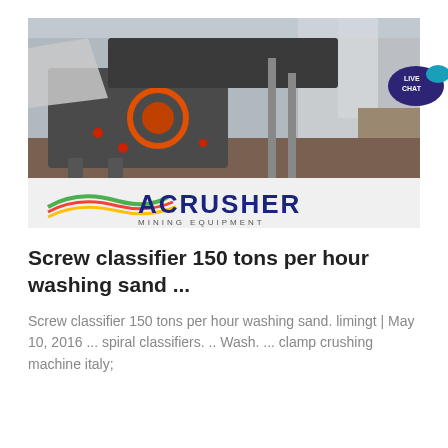[Figure (photo): Industrial mining crusher machine at a construction/quarry site with concrete structures in the background, alongside ACRUSHER Mining Equipment logo]
Screw classifier 150 tons per hour washing sand ...
Screw classifier 150 tons per hour washing sand. limingt | May 10, 2016 ... spiral classifiers. .. Wash. ... clamp crushing machine italy;